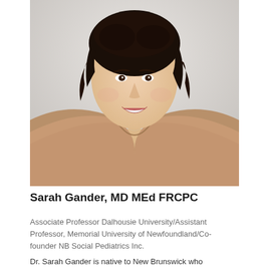[Figure (photo): Professional headshot of Sarah Gander, a woman with dark curly hair, smiling, wearing a tan/beige v-neck knit sweater and a delicate necklace, photographed against a light gray background.]
Sarah Gander, MD MEd FRCPC
Associate Professor Dalhousie University/Assistant Professor, Memorial University of Newfoundland/Co-founder NB Social Pediatrics Inc.
Dr. Sarah Gander is native to New Brunswick who